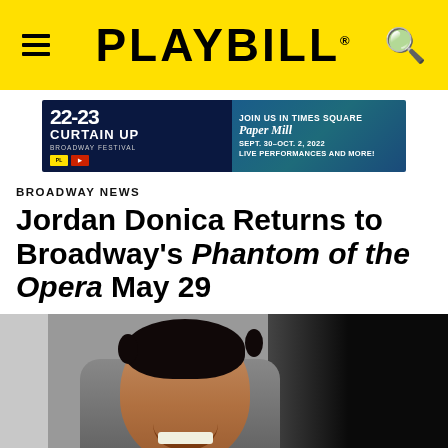PLAYBILL
[Figure (photo): Advertisement banner: 22-23 ON SALE | CURTAIN UP BROADWAY FESTIVAL | JOIN US IN TIMES SQUARE | PAPER MILL | SEPT. 30-OCT. 2, 2022 LIVE PERFORMANCES AND MORE!]
BROADWAY NEWS
Jordan Donica Returns to Broadway's Phantom of the Opera May 29
[Figure (photo): Photo of Jordan Donica smiling, man with curly dark hair, light background on left and dark background on right]